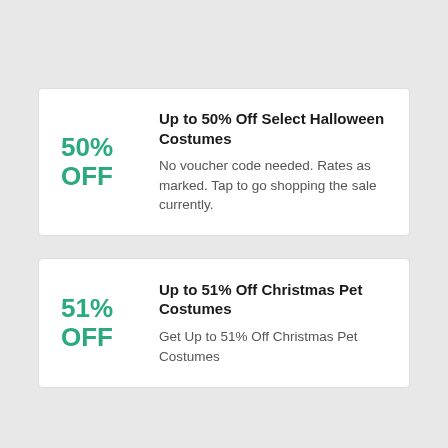50% OFF
Up to 50% Off Select Halloween Costumes
No voucher code needed. Rates as marked. Tap to go shopping the sale currently.
51% OFF
Up to 51% Off Christmas Pet Costumes
Get Up to 51% Off Christmas Pet Costumes